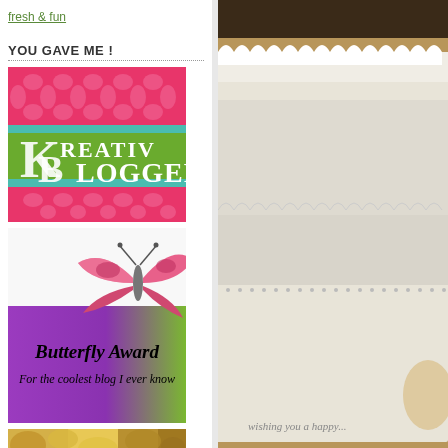fresh & fun
YOU GAVE ME !
[Figure (illustration): Kreativ Blogger Award badge - pink and green background with damask pattern and text 'KREATIV BLOGGER [AWARD]']
[Figure (illustration): Butterfly Award badge - purple and green gradient background with pink butterfly illustration and text 'Butterfly Award - For the coolest blog I ever know']
[Figure (photo): Partial view of an autumn/nature scene, cropped at bottom]
[Figure (photo): Right column: close-up photo of white embossed/lace paper card with scalloped edges on a wooden surface, text partially visible at bottom reading 'wishing you a happy...']